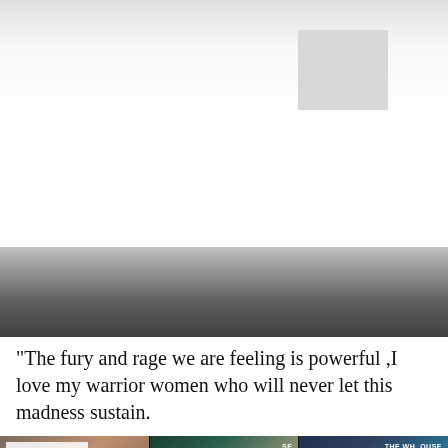[Figure (screenshot): Top banner area with light gray gradient background and a lighter gray rectangle element on the right side]
[Figure (screenshot): Middle dark gradient banner area transitioning from light gray to dark gray/black]
[Figure (photo): Row of three video thumbnails showing news/political figures including a woman in green at a press briefing, a man in a suit pointing at a crowd, and another woman in green at a White House press briefing]
"The fury and rage we are feeling is powerful ,I love my warrior women who will never let this madness sustain.